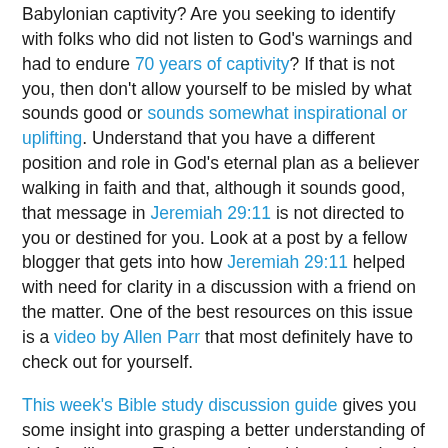Babylonian captivity? Are you seeking to identify with folks who did not listen to God's warnings and had to endure 70 years of captivity? If that is not you, then don't allow yourself to be misled by what sounds good or sounds somewhat inspirational or uplifting. Understand that you have a different position and role in God's eternal plan as a believer walking in faith and that, although it sounds good, that message in Jeremiah 29:11 is not directed to you or destined for you. Look at a post by a fellow blogger that gets into how Jeremiah 29:11 helped with need for clarity in a discussion with a friend on the matter. One of the best resources on this issue is a video by Allen Parr that most definitely have to check out for yourself.
This week's Bible study discussion guide gives you some insight into grasping a better understanding of this familiar text. Take some time this weekend and get familiar with